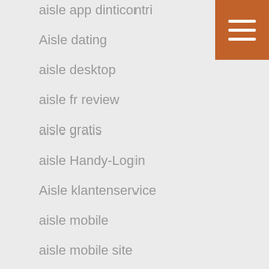aisle app dinticontri
Aisle dating
aisle desktop
aisle fr review
aisle gratis
aisle Handy-Login
Aisle klantenservice
aisle mobile
aisle mobile site
aisle ne demek
Aisle online dating
Aisle opiniones espana
aisle pl reviews